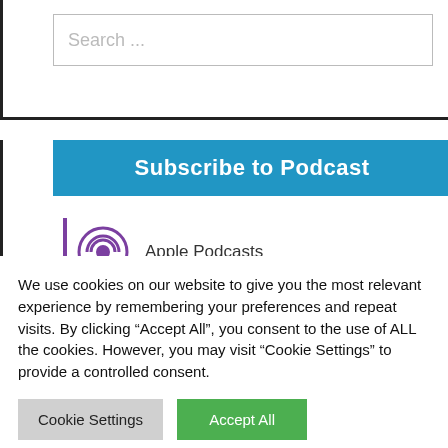Search ...
Subscribe to Podcast
Apple Podcasts
We use cookies on our website to give you the most relevant experience by remembering your preferences and repeat visits. By clicking “Accept All”, you consent to the use of ALL the cookies. However, you may visit "Cookie Settings" to provide a controlled consent.
Cookie Settings
Accept All